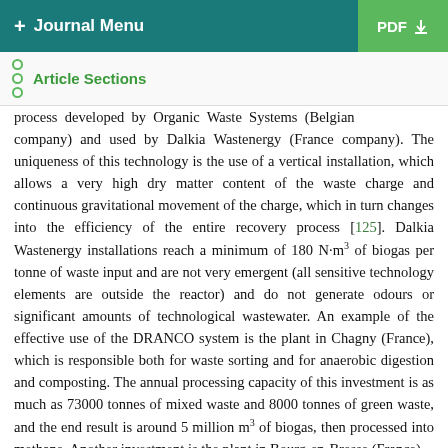+ Journal Menu | PDF
Article Sections
process developed by Organic Waste Systems (Belgian company) and used by Dalkia Wastenergy (France company). The uniqueness of this technology is the use of a vertical installation, which allows a very high dry matter content of the waste charge and continuous gravitational movement of the charge, which in turn changes into the efficiency of the entire recovery process [125]. Dalkia Wastenergy installations reach a minimum of 180 N·m³ of biogas per tonne of waste input and are not very emergent (all sensitive technology elements are outside the reactor) and do not generate odours or significant amounts of technological wastewater. An example of the effective use of the DRANCO system is the plant in Chagny (France), which is responsible both for waste sorting and for anaerobic digestion and composting. The annual processing capacity of this investment is as much as 73000 tonnes of mixed waste and 8000 tonnes of green waste, and the end result is around 5 million m³ of biogas, then processed into methane. Another investment is the plant in Bourg-en-Bresse (France),